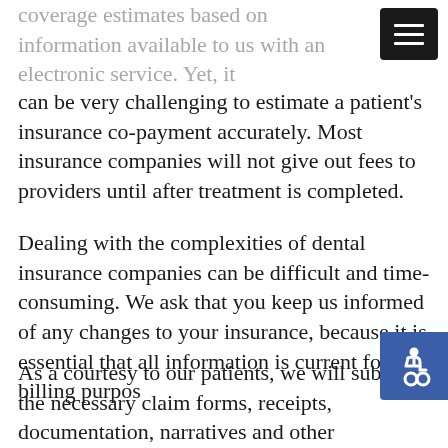coverage estimates based on information available to us with an electronic service. Yet, it can be very challenging to estimate a patient's insurance co-payment accurately. Most insurance companies will not give out fees to providers until after treatment is completed.
Dealing with the complexities of dental insurance companies can be difficult and time-consuming. We ask that you keep us informed of any changes to your insurance, because it is essential that all information is current for billing purposes.
As a courtesy to our patients, we will submit the necessary claim forms, receipts, documentation, narratives and other information to your insurance company on your behalf.